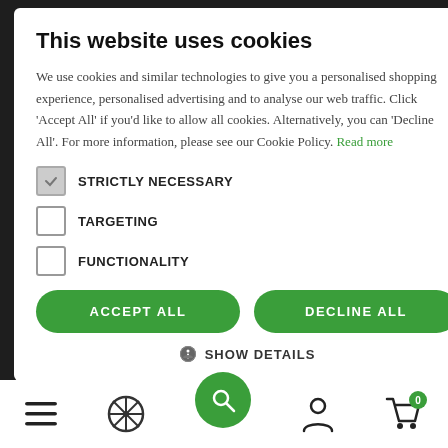[Figure (screenshot): Cookie consent modal dialog overlaying a dark e-commerce website background. The modal has a title 'This website uses cookies', descriptive text, checkboxes for Strictly Necessary, Targeting, and Functionality, Accept All and Decline All buttons, and a Show Details option. Background shows sitemap link, basket link, green chat button, and bottom navigation bar with menu, wheel, search, account, and cart icons.]
This website uses cookies
We use cookies and similar technologies to give you a personalised shopping experience, personalised advertising and to analyse our web traffic. Click 'Accept All' if you'd like to allow all cookies. Alternatively, you can 'Decline All'. For more information, please see our Cookie Policy. Read more
STRICTLY NECESSARY
TARGETING
FUNCTIONALITY
ACCEPT ALL
DECLINE ALL
SHOW DETAILS